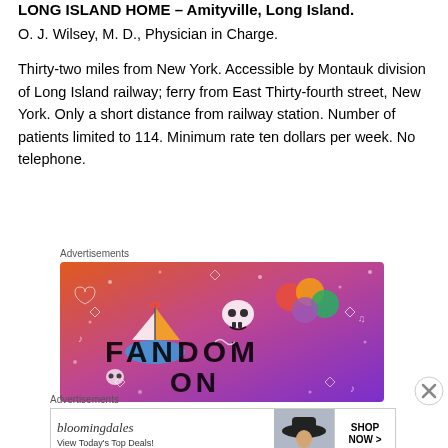LONG ISLAND HOME – Amityville, Long Island.
O. J. Wilsey, M. D., Physician in Charge.
Thirty-two miles from New York. Accessible by Montauk division of Long Island railway; ferry from East Thirty-fourth street, New York. Only a short distance from railway station. Number of patients limited to 114. Minimum rate ten dollars per week. No telephone.
Advertisements
[Figure (illustration): Fandom advertisement with colorful gradient background (orange to purple) featuring decorative icons, a sailboat sticker, skull, and the text FANDOM ON in large block letters]
Advertisements
[Figure (illustration): Bloomingdale's advertisement reading 'bloomingdales View Today's Top Deals!' with a woman wearing a hat and a 'SHOP NOW >' button]